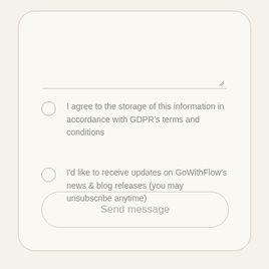[Figure (screenshot): A mobile UI card/form with a textarea (resizable), two radio/checkbox options with text, and a Send message button. Background is off-white/cream.]
I agree to the storage of this information in accordance with GDPR's terms and conditions
I'd like to receive updates on GoWithFlow's news & blog releases (you may unsubscribe anytime)
Send message